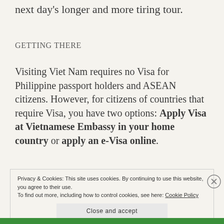next day's longer and more tiring tour.
GETTING THERE
Visiting Viet Nam requires no Visa for Philippine passport holders and ASEAN citizens. However, for citizens of countries that require Visa, you have two options: Apply Visa at Vietnamese Embassy in your home country or apply an e-Visa online.
Privacy & Cookies: This site uses cookies. By continuing to use this website, you agree to their use.
To find out more, including how to control cookies, see here: Cookie Policy
Close and accept